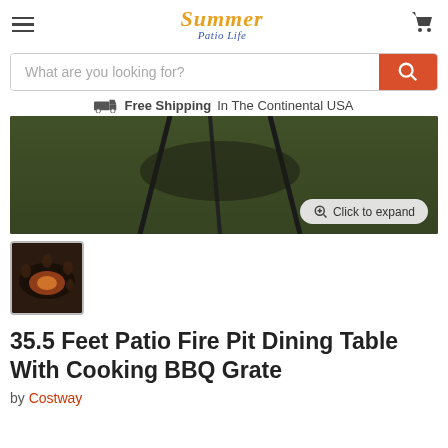Summer Patio Life — navigation header with hamburger menu, logo, and cart icon
What are you looking for?
Free Shipping In The Continental USA
[Figure (photo): Aerial/overhead photo of a fire pit dining table on grass, with metal legs visible. Has a 'Click to expand' button overlay.]
[Figure (photo): Small thumbnail image of people gathered around a fire pit dining table at night.]
35.5 Feet Patio Fire Pit Dining Table With Cooking BBQ Grate
by Costway